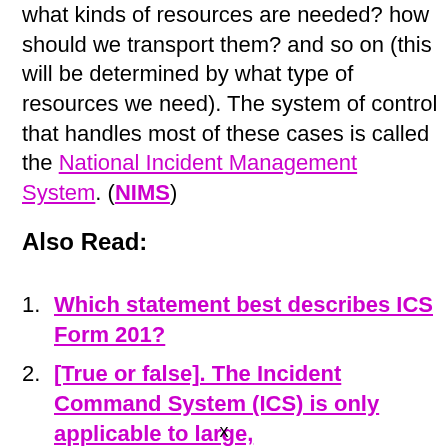what kinds of resources are needed? how should we transport them? and so on (this will be determined by what type of resources we need). The system of control that handles most of these cases is called the National Incident Management System. (NIMS)
Also Read:
Which statement best describes ICS Form 201?
[True or false]. The Incident Command System (ICS) is only applicable to large,
x